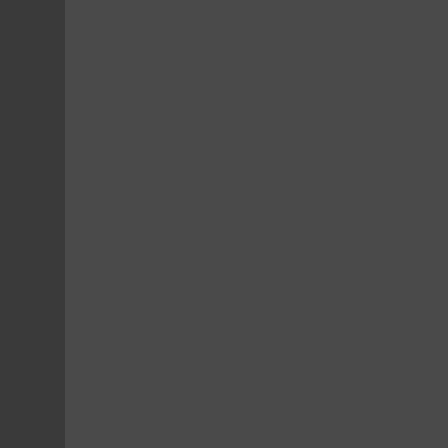the euphoria associated with coca... use can trigger tremendous craving... of abstinence. Through the use o... dynamic changes that occur in the... different brain changes that occur... the craving for cocaine. They can... cocaine addict sees or hears envir... studies help us by pinpointing spe... regions are critical to identifying tar...
Crack Cocaine Abuse Help, Perry...
Crack cocaine abuse is usually no... given and something done about t... mount up and become more difficu... first line of defense or offense in... crack cocaine abuse is already a... sources of the difficulty. Disorders... not genes. Depression, guilt, and c... abuse. The solution is to fully detox... the help of drugs.
Just cutting down on crack cocaine... level always goes back up again.... crack cocaine abuse now. Don't p... using crack cocaine for an extende... withdrawal. Additionally, the indivic... period of time. This craving is norm... very difficult for anyone who has a... their own without help from a profe... crack cocaine abuse help on this w...
Ecstasy Abuse Help, Perry Hall, ...
Ecstasy abuse help involves a mu... individual goes through a detoxifi... system. Secondly, they need to... therapy. This two part process...